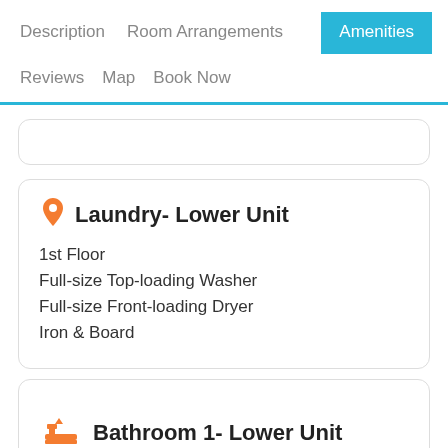Description | Room Arrangements | Amenities
Reviews | Map | Book Now
Laundry- Lower Unit
1st Floor
Full-size Top-loading Washer
Full-size Front-loading Dryer
Iron & Board
Bathroom 1- Lower Unit